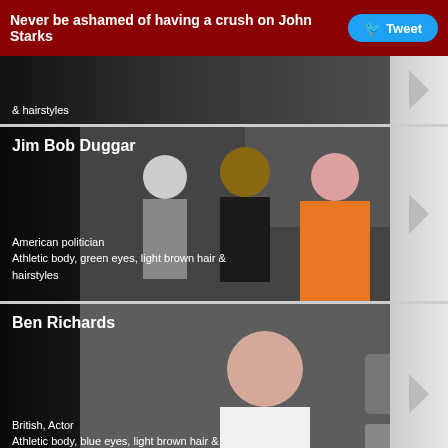Never be ashamed of having a crush on John Starks  Tweet
[Figure (photo): Partial card showing cropped text: '& hairstyles' on dark background]
Jim Bob Duggar
American politician
Athletic body, green eyes, light brown hair & hairstyles
[Figure (photo): Three men standing together against a textured dark wall background; man on right in orange shirt]
Ben Richards
British, Actor
Athletic body, blue eyes, light brown hair & hairstyles
[Figure (photo): Man in white polo shirt looking at camera in indoor setting]